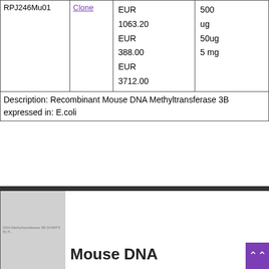| Product ID | Clone | Price | Size |
| --- | --- | --- | --- |
| RPJ246Mu01 | Clone | EUR
1063.20
EUR
388.00
EUR
3712.00 | 500 ug
50ug
5 mg |
Description: Recombinant Mouse DNA Methyltransferase 3B expressed in: E.coli
[Figure (photo): Product thumbnail image placeholder for DNA Methyltransferase 3B (DNMT3B) protein, shown as a grey placeholder box with label text]
Mouse DNA